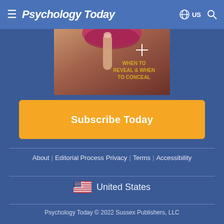Psychology Today  ≡  🌐 US 🔍
[Figure (photo): Magazine cover showing a woman's face with finger over lips in a 'shh' gesture, with text 'WHEN TO REVEAL & WHEN TO CONCEAL']
Subscribe Today
About  Editorial Process  Privacy  Terms  Accessibility
🇺🇸 United States
Psychology Today © 2022 Sussex Publishers, LLC